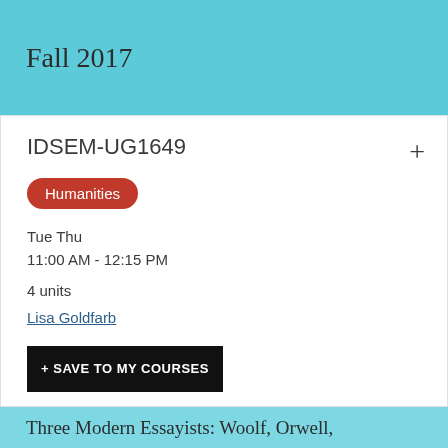Fall 2017
IDSEM-UG1649
Humanities
Tue Thu
11:00 AM - 12:15 PM
4 units
Lisa Goldfarb
+ SAVE TO MY COURSES
Three Modern Essayists: Woolf, Orwell,